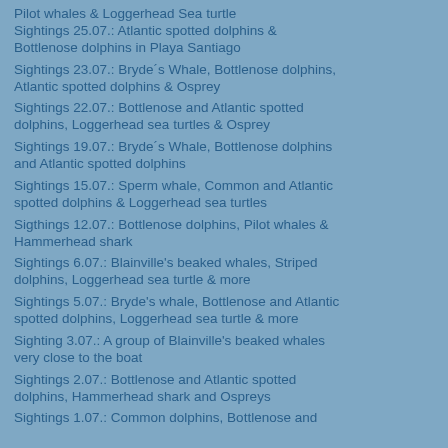Pilot whales & Loggerhead Sea turtle
Sightings 25.07.: Atlantic spotted dolphins & Bottlenose dolphins in Playa Santiago
Sightings 23.07.: Bryde´s Whale, Bottlenose dolphins, Atlantic spotted dolphins & Osprey
Sightings 22.07.: Bottlenose and Atlantic spotted dolphins, Loggerhead sea turtles & Osprey
Sightings 19.07.: Bryde´s Whale, Bottlenose dolphins and Atlantic spotted dolphins
Sightings 15.07.: Sperm whale, Common and Atlantic spotted dolphins & Loggerhead sea turtles
Sigthings 12.07.: Bottlenose dolphins, Pilot whales & Hammerhead shark
Sightings 6.07.: Blainville's beaked whales, Striped dolphins, Loggerhead sea turtle & more
Sightings 5.07.: Bryde's whale, Bottlenose and Atlantic spotted dolphins, Loggerhead sea turtle & more
Sighting 3.07.: A group of Blainville's beaked whales very close to the boat
Sightings 2.07.: Bottlenose and Atlantic spotted dolphins, Hammerhead shark and Ospreys
Sightings 1.07.: Common dolphins, Bottlenose and